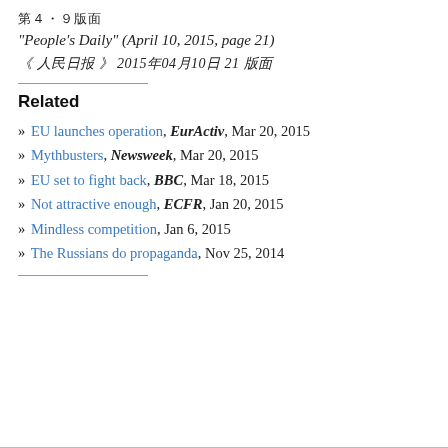第4·9版
"People's Daily" (April 10, 2015, page 21)
《 人民日报 》 2015年04月10日 21 版面
Related
» EU launches operation, EurActiv, Mar 20, 2015
» Mythbusters, Newsweek, Mar 20, 2015
» EU set to fight back, BBC, Mar 18, 2015
» Not attractive enough, ECFR, Jan 20, 2015
» Mindless competition, Jan 6, 2015
» The Russians do propaganda, Nov 25, 2014